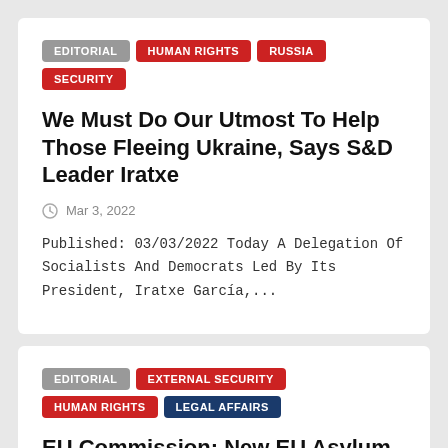EDITORIAL | Human Rights | Russia | SECURITY
We Must Do Our Utmost To Help Those Fleeing Ukraine, Says S&D Leader Iratxe
Mar 3, 2022
Published: 03/03/2022 Today A Delegation Of Socialists And Democrats Led By Its President, Iratxe García,...
EDITORIAL | External Security | Human Rights | Legal Affairs
EU Commission: New EU Asylum Agency